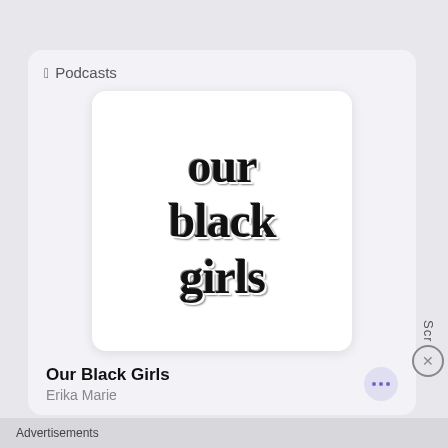[Figure (screenshot): Apple Podcasts app card showing 'Our Black Girls' podcast artwork — white background with bold serif 3D-effect text reading 'our black girls' in three lines — along with podcast title, author name Erika Marie, and a more-options button]
Podcasts
Our Black Girls
Erika Marie
Advertisements